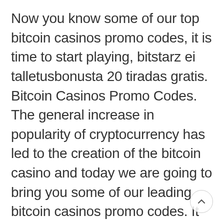Now you know some of our top bitcoin casinos promo codes, it is time to start playing, bitstarz ei talletusbonusta 20 tiradas gratis. Bitcoin Casinos Promo Codes. The general increase in popularity of cryptocurrency has led to the creation of the bitcoin casino and today we are going to bring you some of our leading bitcoin casinos promo codes. It does not matter where you live as you will discover codes for bitcoin casino UK , bitcoin casino USA and several other countries. https://jrnazario.com/activity/p/15063/ Simplified laws forum – member profile > profile page. User: bitstarz ei talletusbonusta 20 tiradas gratis, bitstarz glassdoor, title: new member, It is strongly recommended that you simply begin